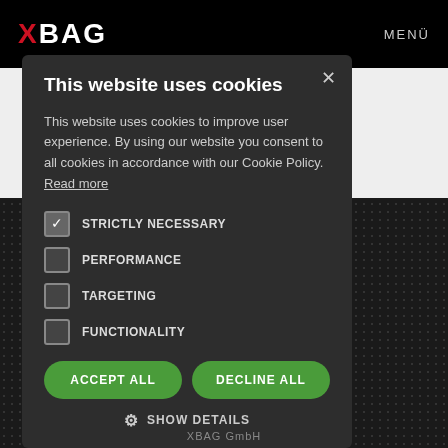XBAG  MENÜ
This website uses cookies
This website uses cookies to improve user experience. By using our website you consent to all cookies in accordance with our Cookie Policy. Read more
STRICTLY NECESSARY
PERFORMANCE
TARGETING
FUNCTIONALITY
ACCEPT ALL
DECLINE ALL
SHOW DETAILS
XBAG GmbH